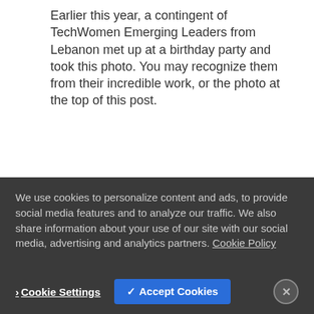Earlier this year, a contingent of TechWomen Emerging Leaders from Lebanon met up at a birthday party and took this photo. You may recognize them from their incredible work, or the photo at the top of this post.
[Figure (photo): Four women smiling together at an outdoor event, with balloons and city buildings in the background.]
We use cookies to personalize content and ads, to provide social media features and to analyze our traffic. We also share information about your use of our site with our social media, advertising and analytics partners. Cookie Policy